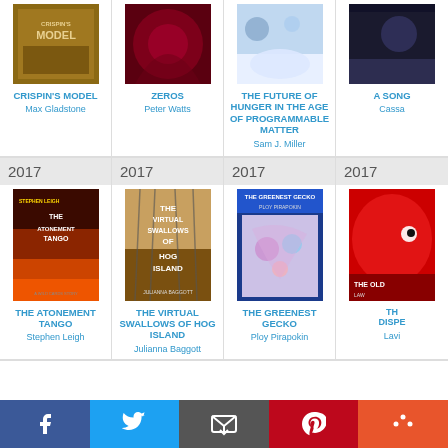[Figure (illustration): Book cover grid - top row: Crispin's Model, Zeros, The Future of Hunger in the Age of Programmable Matter, A Song (partial)]
CRISPIN'S MODEL
Max Gladstone
ZEROS
Peter Watts
THE FUTURE OF HUNGER IN THE AGE OF PROGRAMMABLE MATTER
Sam J. Miller
A SONG
Cassa
2017	2017	2017	2017
[Figure (illustration): Book cover grid - bottom row: The Atonement Tango by Stephen Leigh, The Virtual Swallows of Hog Island by Julianna Baggott, The Greenest Gecko by Ploy Pirapokin, The Old (partial) by Lavi]
THE ATONEMENT TANGO
Stephen Leigh
THE VIRTUAL SWALLOWS OF HOG ISLAND
Julianna Baggott
THE GREENEST GECKO
Ploy Pirapokin
TH
DISPE
Lavi
Social share bar: Facebook, Twitter, Email, Pinterest, More